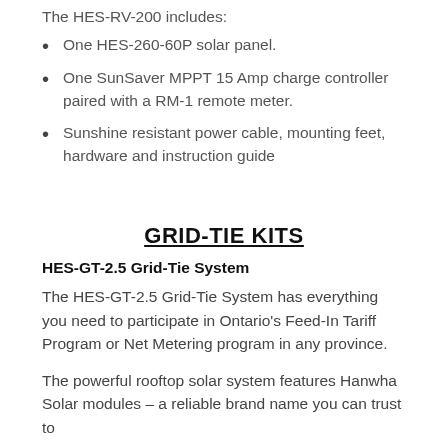The HES-RV-200 includes:
One HES-260-60P solar panel.
One SunSaver MPPT 15 Amp charge controller paired with a RM-1 remote meter.
Sunshine resistant power cable, mounting feet, hardware and instruction guide
GRID-TIE KITS
HES-GT-2.5 Grid-Tie System
The HES-GT-2.5 Grid-Tie System has everything you need to participate in Ontario's Feed-In Tariff Program or Net Metering program in any province.
The powerful rooftop solar system features Hanwha Solar modules – a reliable brand name you can trust to